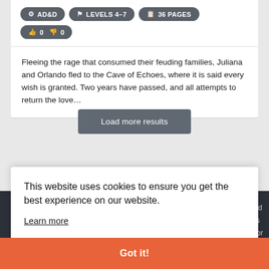AD&D | LEVELS 4-7 | 36 PAGES | 0 👍 0 👎
Fleeing the rage that consumed their feuding families, Juliana and Orlando fled to the Cave of Echoes, where it is said every wish is granted. Two years have passed, and all attempts to return the love…
Load more results
This website uses cookies to ensure you get the best experience on our website.
Learn more
Got it!